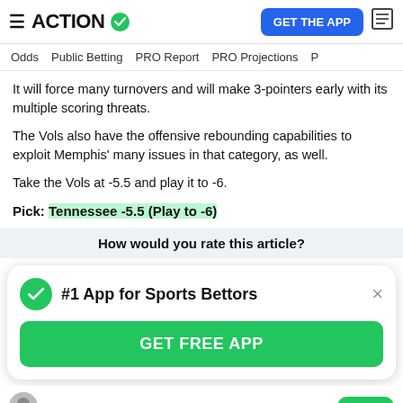ACTION #1 App for Sports Bettors
Odds   Public Betting   PRO Report   PRO Projections
It will force many turnovers and will make 3-pointers early with its multiple scoring threats.
The Vols also have the offensive rebounding capabilities to exploit Memphis' many issues in that category, as well.
Take the Vols at -5.5 and play it to -6.
Pick: Tennessee -5.5 (Play to -6)
How would you rate this article?
#1 App for Sports Bettors
GET FREE APP
D.J. James